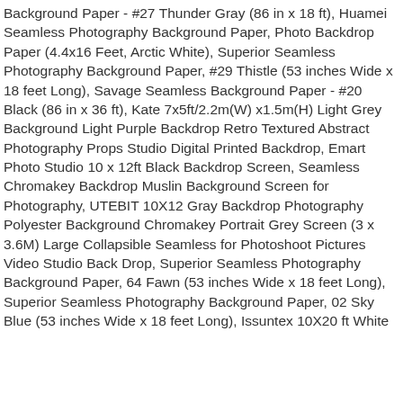Background Paper - #27 Thunder Gray (86 in x 18 ft), Huamei Seamless Photography Background Paper, Photo Backdrop Paper (4.4x16 Feet, Arctic White), Superior Seamless Photography Background Paper, #29 Thistle (53 inches Wide x 18 feet Long), Savage Seamless Background Paper - #20 Black (86 in x 36 ft), Kate 7x5ft/2.2m(W) x1.5m(H) Light Grey Background Light Purple Backdrop Retro Textured Abstract Photography Props Studio Digital Printed Backdrop, Emart Photo Studio 10 x 12ft Black Backdrop Screen, Seamless Chromakey Backdrop Muslin Background Screen for Photography, UTEBIT 10X12 Gray Backdrop Photography Polyester Background Chromakey Portrait Grey Screen (3 x 3.6M) Large Collapsible Seamless for Photoshoot Pictures Video Studio Back Drop, Superior Seamless Photography Background Paper, 64 Fawn (53 inches Wide x 18 feet Long), Superior Seamless Photography Background Paper, 02 Sky Blue (53 inches Wide x 18 feet Long), Issuntex 10X20 ft White